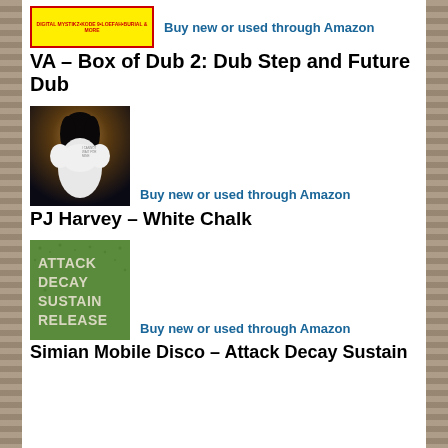[Figure (illustration): Album cover thumbnail for VA - Box of Dub 2 with yellow background and red text]
Buy new or used through Amazon
VA – Box of Dub 2: Dub Step and Future Dub
[Figure (photo): Album cover for PJ Harvey - White Chalk showing a woman in a white dress against a dark moody background]
Buy new or used through Amazon
PJ Harvey – White Chalk
[Figure (illustration): Album cover for Simian Mobile Disco - Attack Decay Sustain Release showing text on green grass background]
Buy new or used through Amazon
Simian Mobile Disco – Attack Decay Sustain